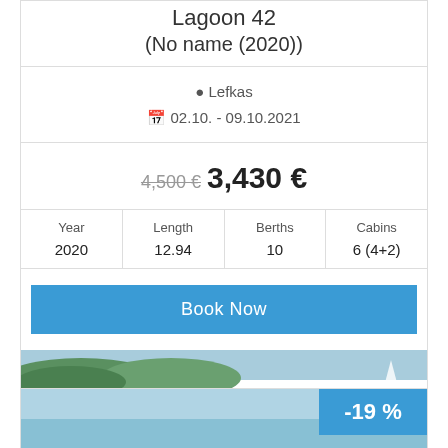Lagoon 42
(No name (2020))
Lefkas
02.10. - 09.10.2021
4,500 € 3,430 €
| Year | Length | Berths | Cabins |
| --- | --- | --- | --- |
| 2020 | 12.94 | 10 | 6 (4+2) |
Book Now
[Figure (photo): Scenic coastal view with green vegetation, rocky shoreline, and turquoise water]
-19 %